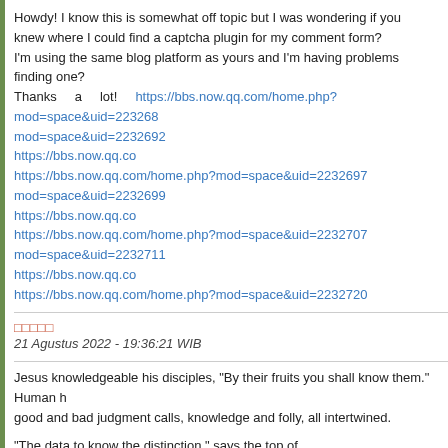Howdy! I know this is somewhat off topic but I was wondering if you knew where I could find a captcha plugin for my comment form? I'm using the same blog platform as yours and I'm having problems finding one? Thanks a lot! https://bbs.now.qq.com/home.php?mod=space&uid=223268 mod=space&uid=2232692 https://bbs.now.qq.co https://bbs.now.qq.com/home.php?mod=space&uid=2232697 mod=space&uid=2232699 https://bbs.now.qq.co https://bbs.now.qq.com/home.php?mod=space&uid=2232707 mod=space&uid=2232711 https://bbs.now.qq.co https://bbs.now.qq.com/home.php?mod=space&uid=2232720
□□□□□
21 Agustus 2022 - 19:36:21 WIB
Jesus knowledgeable his disciples, "By their fruits you shall know them." Human h good and bad judgment calls, knowledge and folly, all intertwined.
"The data to know the distinction," says the top of the Serenity Prayer (transient model). Yes, information might be very exhausting to when you do come by it, it could also be very costly. The weather in Vilamoura is a revitalizing change to those that come from the coo or the icy winters of the far north. If you need extra information to be satisfied, the following ten finest causes to buy Vilamoura property should help you resolve in its favor. In order to assist a person make the very best choices, this article affords various guiding ideas that may make it potential for them to get the very best packages in Lincoln City.